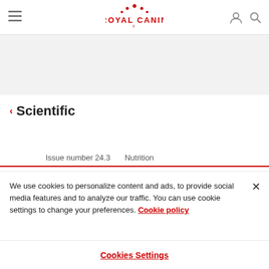Royal Canin — navigation header with hamburger menu, logo, user and search icons
[Figure (illustration): Gray banner area below header]
< Scientific
Issue number 24.3    Nutrition
We use cookies to personalize content and ads, to provide social media features and to analyze our traffic. You can use cookie settings to change your preferences. Cookie policy
Cookies Settings